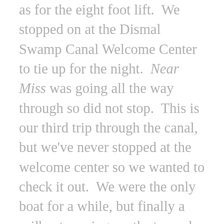as for the eight foot lift.  We stopped on at the Dismal Swamp Canal Welcome Center to tie up for the night.  Near Miss was going all the way through so did not stop.  This is our third trip through the canal, but we've never stopped at the welcome center so we wanted to check it out.  We were the only boat for a while, but finally a sailboat passing south stopped.  We helped the guys on the sail boat dock.  The older gentleman, Frank, had just bought the boat and his son, Mike, was helping him get it down to Washington, NC.  They had forgotten to load their groceries so we gave them a jar of peanut butter and loaned them a pot to cook their Ramen noodles in.  We enjoyed visiting the museum and walking the boardwalk and talking to families that were stopped at the rest stop.  The following day, May